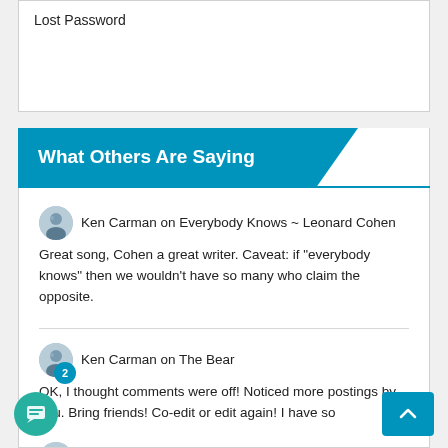Lost Password
What Others Are Saying
Ken Carman on Everybody Knows ~ Leonard Cohen
Great song, Cohen a great writer. Caveat: if "everybody knows" then we wouldn't have so many who claim the opposite.
Ken Carman on The Bear
OK, I thought comments were off! Noticed more postings by you. Bring friends! Co-edit or edit again! I have so
Ken Carman on Inspection- Why I Love